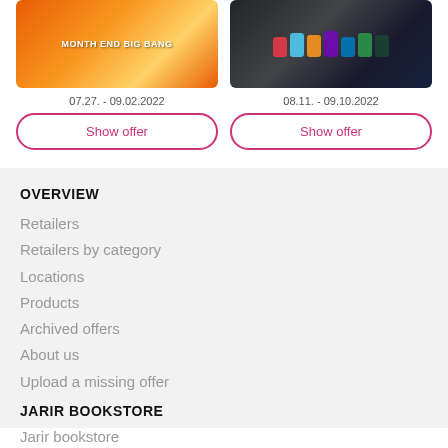[Figure (photo): Left offer card image - orange promotional banner with 'MONTH END BIG BANG' text and household products]
07.27. - 09.02.2022
Show offer
[Figure (photo): Right offer card image - school backpacks on dark background]
08.11. - 09.10.2022
Show offer
OVERVIEW
Retailers
Retailers by category
Locations
Products
Archived offers
About us
Upload a missing offer
JARIR BOOKSTORE
Jarir bookstore